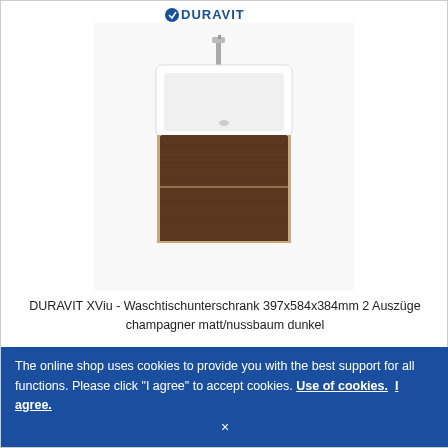DURAVIT
[Figure (photo): Duravit XViu bathroom vanity unit with white ceramic sink basin on top and dark walnut wood cabinet with two drawers below, wall-mounted style]
DURAVIT XViu - Waschtischunterschrank 397x584x384mm 2 Auszüge champagner matt/nussbaum dunkel
S$ 2,097.81*
S$ 950.71
Delivery time: approx. 4-6 weeks
The online shop uses cookies to provide you with the best support for all functions. Please click "I agree" to accept cookies. Use of cookies. I agree. ×